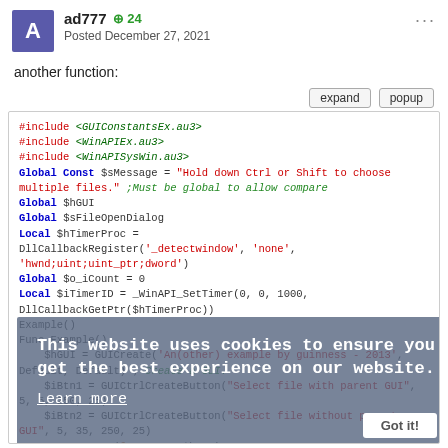ad777 +24 Posted December 27, 2021
another function:
[Figure (screenshot): Code block showing AutoIt script with #include directives, Global/Local variable declarations, DllCallbackRegister calls, GUICreate, GUICtrlCreateButton, and GUISetState functions, with syntax highlighting in multiple colors (red, blue, green, orange).]
This website uses cookies to ensure you get the best experience on our website.
Learn more
Got it!